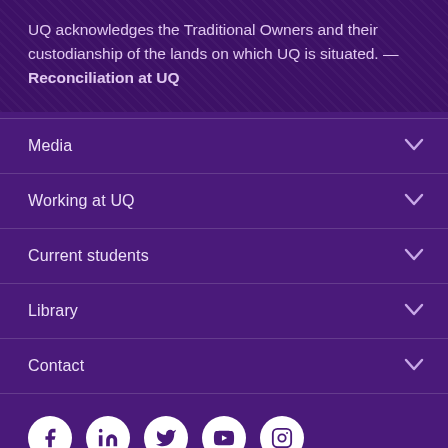UQ acknowledges the Traditional Owners and their custodianship of the lands on which UQ is situated. — Reconciliation at UQ
Media
Working at UQ
Current students
Library
Contact
[Figure (other): Social media icons row: Facebook, LinkedIn, Twitter, YouTube, Instagram]